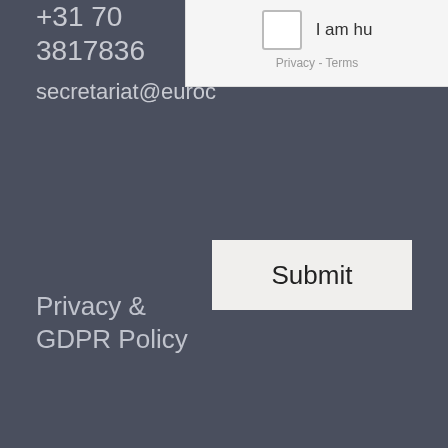+31 70
3817836
secretariat@euroc
[Figure (screenshot): CAPTCHA widget showing a checkbox and 'I am hu' text with 'Privacy - Terms' below]
Submit
Privacy &
GDPR Policy
Child
Protection
Policy